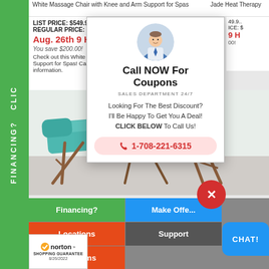White Massage Chair with Knee and Arm Support for Spas / Jade Heat Therapy
LIST PRICE: $549.95
REGULAR PRICE: $469.95
Aug. 26th 9 HR.
You save $200.00!
Check out this White Mass... Support for Spas! Call 1-8... information.
[Figure (photo): Circular avatar photo of a man in a suit with a blue tie]
Call NOW For Coupons
SALES DEPARTMENT 24/7
Looking For The Best Discount? I'll Be Happy To Get You A Deal! CLICK BELOW To Call Us!
1-708-221-6315
[Figure (photo): Massage table photo - teal/turquoise colored portable massage table with wooden legs]
Financing?
Make Offer
Locations
Support
New Items
[Figure (logo): Norton Shopping Guarantee badge with checkmark, date 8/26/2022]
CHAT!